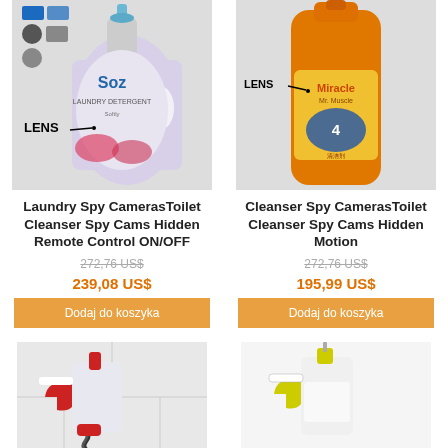[Figure (photo): Laundry detergent bottle (Soz brand, blue/white) with LENS label arrow pointing to hidden camera lens]
[Figure (photo): Orange toilet cleaner bottle (Miracle brand) with LENS label arrow pointing to hidden camera lens]
Laundry Spy CamerasToilet Cleanser Spy Cams Hidden Remote Control ON/OFF
Cleanser Spy CamerasToilet Cleanser Spy Cams Hidden Motion
272,76 US$
272,76 US$
239,08 US$
195,99 US$
Dodaj do koszyka
Dodaj do koszyka
[Figure (photo): Red and white spray bottle trigger sprayer with corrugated hose]
[Figure (photo): Yellow and white spray bottle trigger sprayer]